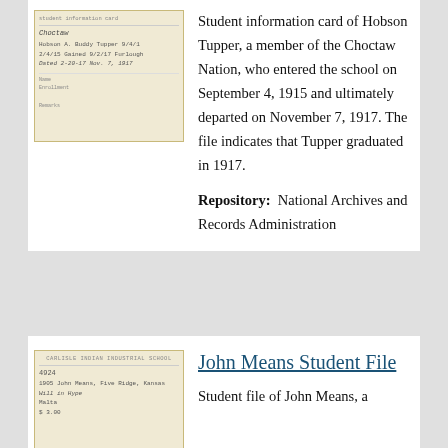[Figure (photo): Thumbnail image of a handwritten student information card for Hobson Tupper of the Choctaw Nation]
Student information card of Hobson Tupper, a member of the Choctaw Nation, who entered the school on September 4, 1915 and ultimately departed on November 7, 1917. The file indicates that Tupper graduated in 1917.
Repository:  National Archives and Records Administration
[Figure (photo): Thumbnail image of a handwritten student file card for John Means]
John Means Student File
Student file of John Means, a